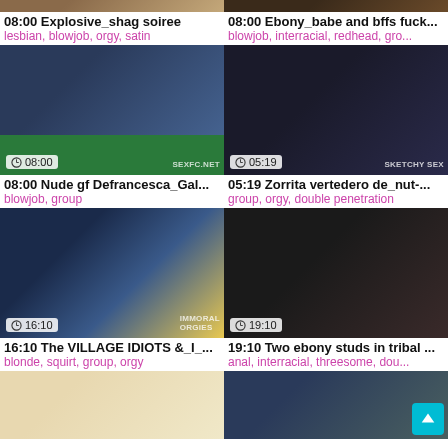[Figure (screenshot): Video thumbnail grid - top partial thumbnails]
08:00 Explosive_shag soiree
lesbian, blowjob, orgy, satin
08:00 Ebony_babe and bffs fuck...
blowjob, interracial, redhead, gro...
[Figure (screenshot): Video thumbnail: 08:00 Nude gf Defrancesca_Gal... - pool table scene]
08:00 Nude gf Defrancesca_Gal...
blowjob, group
[Figure (screenshot): Video thumbnail: 05:19 Zorrita vertedero de_nut-...]
05:19 Zorrita vertedero de_nut-...
group, orgy, double penetration
[Figure (screenshot): Video thumbnail: 16:10 The VILLAGE IDIOTS &_I_... - blonde with colorful socks]
16:10 The VILLAGE IDIOTS &_I_...
blonde, squirt, group, orgy
[Figure (screenshot): Video thumbnail: 19:10 Two ebony studs in tribal ...]
19:10 Two ebony studs in tribal ...
anal, interracial, threesome, dou...
[Figure (screenshot): Bottom partial thumbnails row]